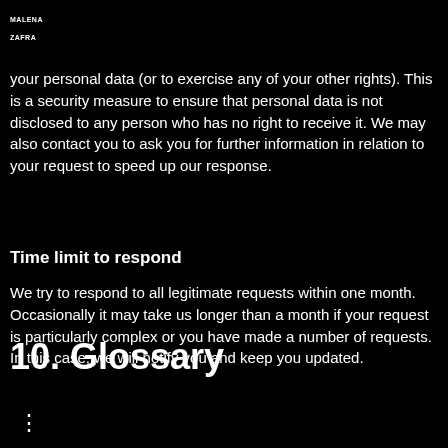MALENA
ZAFRA
your personal data (or to exercise any of your other rights). This is a security measure to ensure that personal data is not disclosed to any person who has no right to receive it. We may also contact you to ask you for further information in relation to your request to speed up our response.
Time limit to respond
We try to respond to all legitimate requests within one month. Occasionally it may take us longer than a month if your request is particularly complex or you have made a number of requests. In this case, we will notify you and keep you updated.
10. Glossary